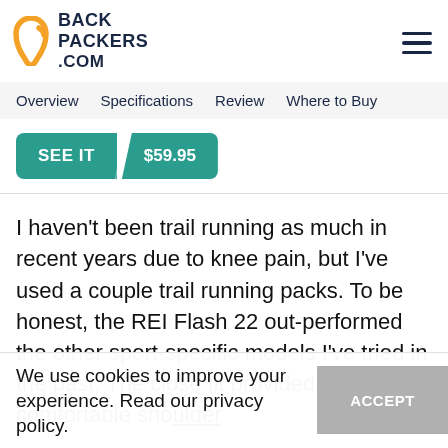[Figure (logo): Backpackers.com logo with orange carabiner icon and dark navy text]
Overview  Specifications  Review  Where to Buy
SEE IT / $59.95
I haven't been trail running as much in recent years due to knee pain, but I've used a couple trail running packs. To be honest, the REI Flash 22 out-performed the other sport-specific models I've tried in the past. The close fit provided by the comfortable shoulder
We use cookies to improve your experience. Read our privacy policy.